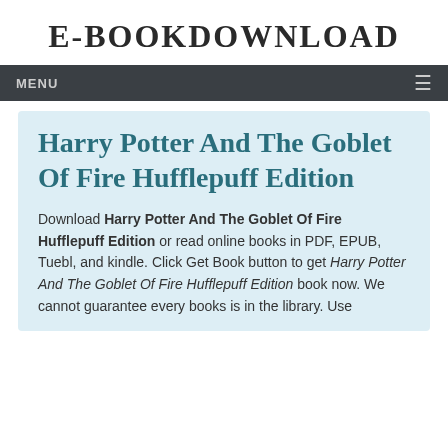E-BOOKDOWNLOAD
Harry Potter And The Goblet Of Fire Hufflepuff Edition
Download Harry Potter And The Goblet Of Fire Hufflepuff Edition or read online books in PDF, EPUB, Tuebl, and kindle. Click Get Book button to get Harry Potter And The Goblet Of Fire Hufflepuff Edition book now. We cannot guarantee every books is in the library. Use